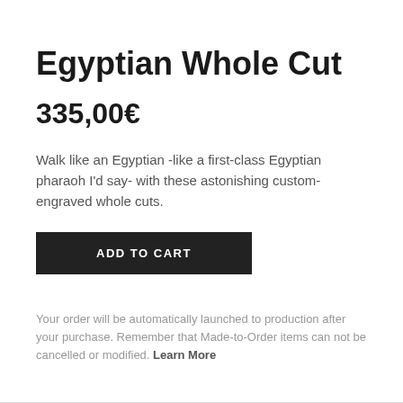Egyptian Whole Cut
335,00€
Walk like an Egyptian -like a first-class Egyptian pharaoh I'd say- with these astonishing custom-engraved whole cuts.
ADD TO CART
Your order will be automatically launched to production after your purchase. Remember that Made-to-Order items can not be cancelled or modified. Learn More